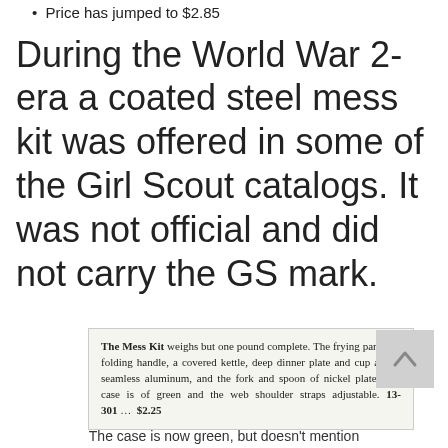Price has jumped to $2.85
During the World War 2-era a coated steel mess kit was offered in some of the Girl Scout catalogs. It was not official and did not carry the GS mark.
[Figure (screenshot): Scanned catalog text box: 'The Mess Kit weighs but one pound complete. The frying pan with folding handle, a covered kettle, deep dinner plate and cup are of seamless aluminum, and the fork and spoon of nickel plate. The case is of green and the web shoulder straps adjustable. 13-301 … $2.25']
The case is now green, but doesn't mention